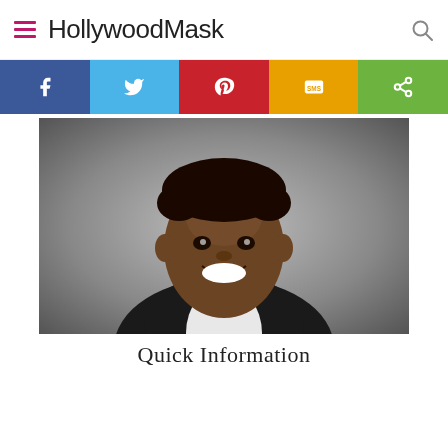HollywoodMask
[Figure (infographic): Social sharing bar with five colored buttons: Facebook (dark blue, f icon), Twitter (light blue, bird icon), Pinterest (red, P icon), SMS (yellow/orange, SMS icon), Share (green, share icon)]
[Figure (photo): Professional headshot of a smiling Black man in a dark blazer and white open-collar shirt, photographed against a gray gradient background]
Quick Information